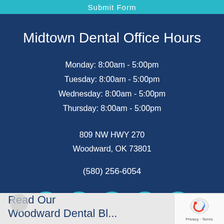Submit Form
Midtown Dental Office Hours
Monday: 8:00am - 5:00pm
Tuesday: 8:00am - 5:00pm
Wednesday: 8:00am - 5:00pm
Thursday: 8:00am - 5:00pm
809 NW HWY 270
Woodward, OK 73801
(580) 256-6054
[Figure (infographic): Row of five social media icon circles (Facebook, Twitter, Google+, YouTube, Yelp) in teal/cyan color]
Read Our
Woodward Dental Bl...